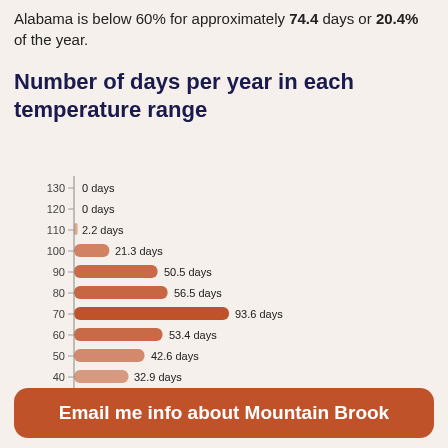Alabama is below 60% for approximately 74.4 days or 20.4% of the year.
Number of days per year in each temperature range
[Figure (bar-chart): Number of days per year in each temperature range]
Email me info about Mountain Brook